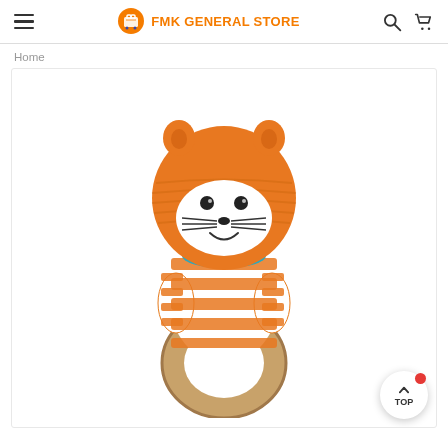FMK GENERAL STORE
Home
[Figure (photo): Crochet cat/fox animal baby rattle toy with orange and white striped pattern, teal collar, black eyes and nose, whiskers, smiling face, mounted on a wooden ring handle.]